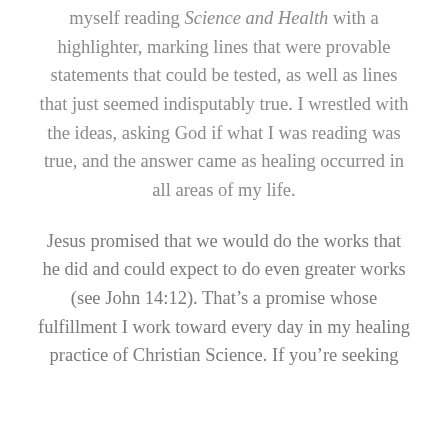myself reading Science and Health with a highlighter, marking lines that were provable statements that could be tested, as well as lines that just seemed indisputably true. I wrestled with the ideas, asking God if what I was reading was true, and the answer came as healing occurred in all areas of my life.
Jesus promised that we would do the works that he did and could expect to do even greater works (see John 14:12). That’s a promise whose fulfillment I work toward every day in my healing practice of Christian Science. If you’re seeking